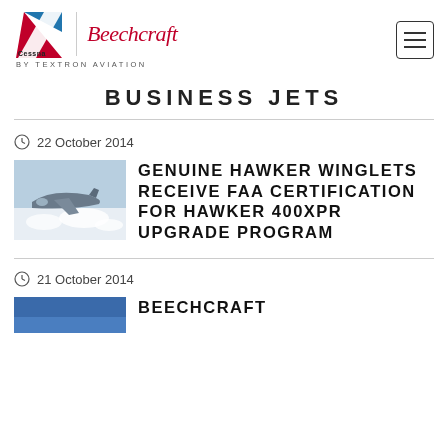[Figure (logo): Cessna and Beechcraft by Textron Aviation logo with hamburger menu icon]
BUSINESS JETS
22 October 2014
[Figure (photo): Photo of a Hawker business jet in flight above clouds]
GENUINE HAWKER WINGLETS RECEIVE FAA CERTIFICATION FOR HAWKER 400XPR UPGRADE PROGRAM
21 October 2014
[Figure (photo): Partial photo — blue image, beginning of Beechcraft article]